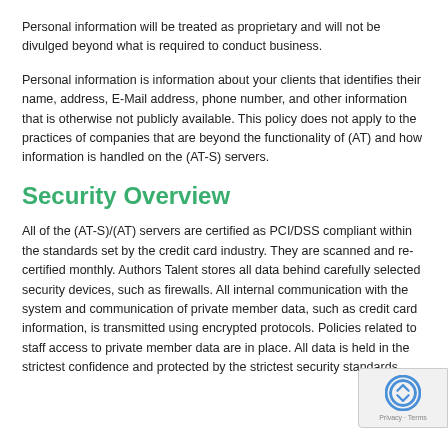Personal information will be treated as proprietary and will not be divulged beyond what is required to conduct business.
Personal information is information about your clients that identifies their name, address, E-Mail address, phone number, and other information that is otherwise not publicly available. This policy does not apply to the practices of companies that are beyond the functionality of (AT) and how information is handled on the (AT-S) servers.
Security Overview
All of the (AT-S)/(AT) servers are certified as PCI/DSS compliant within the standards set by the credit card industry. They are scanned and re-certified monthly. Authors Talent stores all data behind carefully selected security devices, such as firewalls. All internal communication with the system and communication of private member data, such as credit card information, is transmitted using encrypted protocols. Policies related to staff access to private member data are in place. All data is held in the strictest confidence and protected by the strictest security standards.